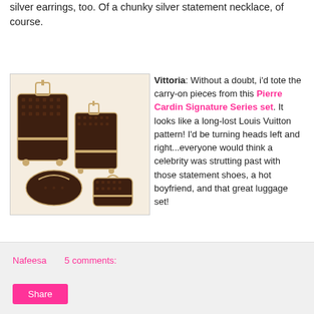silver earrings, too. Of a chunky silver statement necklace, of course.
[Figure (photo): A set of Pierre Cardin Signature Series luggage in dark brown with tan/gold trim, including two upright roller bags, a small tote, and a cosmetics bag, arranged together on a white background.]
Vittoria: Without a doubt, i'd tote the carry-on pieces from this Pierre Cardin Signature Series set. It looks like a long-lost Louis Vuitton pattern! I'd be turning heads left and right...everyone would think a celebrity was strutting past with those statement shoes, a hot boyfriend, and that great luggage set!
Nafeesa   5 comments:   Share